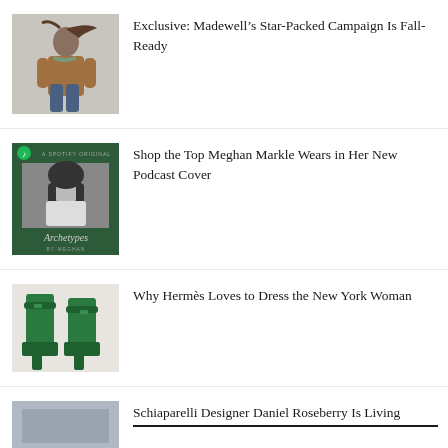[Figure (photo): Woman in brown coat and jeans sitting, hair blowing in wind, fashion editorial style]
Exclusive: Madewell’s Star-Packed Campaign Is Fall-Ready
[Figure (photo): Spotify Archetypes podcast cover featuring Meghan Markle in black and white photo on dark green background]
Shop the Top Meghan Markle Wears in Her New Podcast Cover
[Figure (photo): Green platform high-heel shoes pair standing on white background, Hermes style]
Why Hermès Loves to Dress the New York Woman
[Figure (photo): Partial view of image for Schiaparelli article]
Schiaparelli Designer Daniel Roseberry Is Living